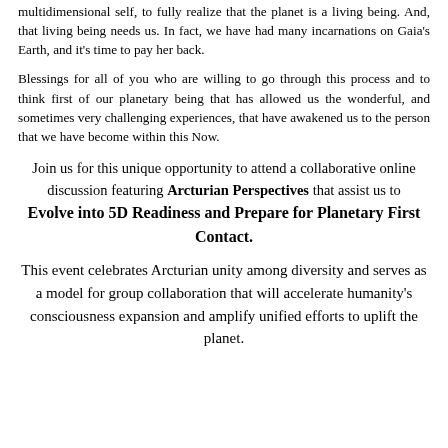multidimensional self, to fully realize that the planet is a living being. And, that living being needs us. In fact, we have had many incarnations on Gaia's Earth, and it's time to pay her back.
Blessings for all of you who are willing to go through this process and to think first of our planetary being that has allowed us the wonderful, and sometimes very challenging experiences, that have awakened us to the person that we have become within this Now.
Join us for this unique opportunity to attend a collaborative online discussion featuring Arcturian Perspectives that assist us to Evolve into 5D Readiness and Prepare for Planetary First Contact.
This event celebrates Arcturian unity among diversity and serves as a model for group collaboration that will accelerate humanity's consciousness expansion and amplify unified efforts to uplift the planet.